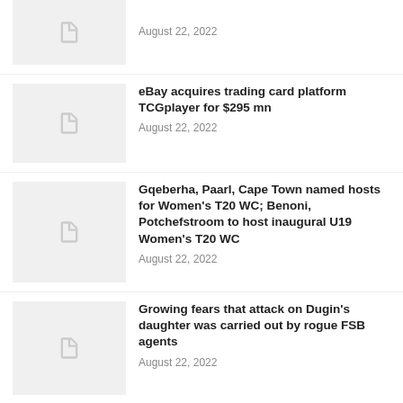[Figure (photo): Thumbnail placeholder image (partial, top of page)]
August 22, 2022
[Figure (photo): Thumbnail placeholder image for eBay TCGplayer article]
eBay acquires trading card platform TCGplayer for $295 mn
August 22, 2022
[Figure (photo): Thumbnail placeholder image for Women's T20 WC article]
Gqeberha, Paarl, Cape Town named hosts for Women's T20 WC; Benoni, Potchefstroom to host inaugural U19 Women's T20 WC
August 22, 2022
[Figure (photo): Thumbnail placeholder image for Dugin's daughter article]
Growing fears that attack on Dugin's daughter was carried out by rogue FSB agents
August 22, 2022
[Figure (photo): Dark photo of Shanghai skyline]
Iconic Shanghai skyline goes dark as drought hits power supply